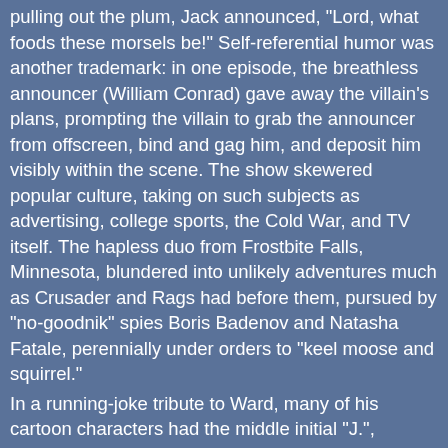pulling out the plum, Jack announced, "Lord, what foods these morsels be!" Self-referential humor was another trademark: in one episode, the breathless announcer (William Conrad) gave away the villain's plans, prompting the villain to grab the announcer from offscreen, bind and gag him, and deposit him visibly within the scene. The show skewered popular culture, taking on such subjects as advertising, college sports, the Cold War, and TV itself. The hapless duo from Frostbite Falls, Minnesota, blundered into unlikely adventures much as Crusader and Rags had before them, pursued by "no-goodnik" spies Boris Badenov and Natasha Fatale, perennially under orders to "keel moose and squirrel."
In a running-joke tribute to Ward, many of his cartoon characters had the middle initial "J.", presumably standing for "Jay" (although this was never stated explicitly). The cartoonist Matt Groening later gave the middle initial "J." to many of his characters as a tribute to Ward.
Ward fought many heated battles over content with the network and sponsor. The "Kirward Derby", a bowler hat that made everyone stupid and Bullwinkle a genius, was named (as a spoonerism) for Durward Kirby, sidekick of the 1950s